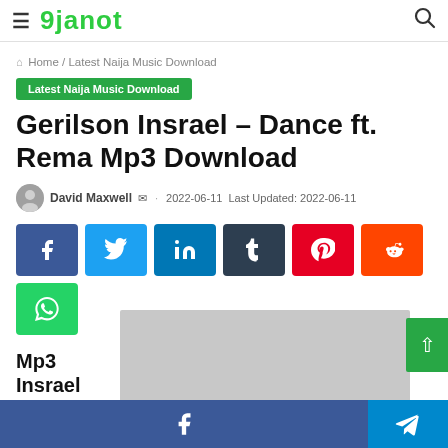9janot
Home / Latest Naija Music Download
Latest Naija Music Download
Gerilson Insrael – Dance ft. Rema Mp3 Download
David Maxwell · 2022-06-11 Last Updated: 2022-06-11
[Figure (other): Social share buttons: Facebook, Twitter, LinkedIn, Tumblr, Pinterest, Reddit, WhatsApp]
Mp3 Insrael
[Figure (photo): Gray image placeholder for article thumbnail]